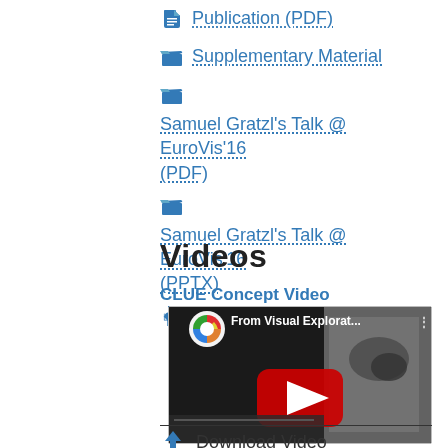Publication (PDF)
Supplementary Material
Samuel Gratzl's Talk @ EuroVis'16 (PDF)
Samuel Gratzl's Talk @ EuroVis'16 (PPTX)
Source Code
Videos
CLUE Concept Video
[Figure (screenshot): YouTube video thumbnail for 'From Visual Explorat...' with YouTube logo, play button, and chart background]
Download Video